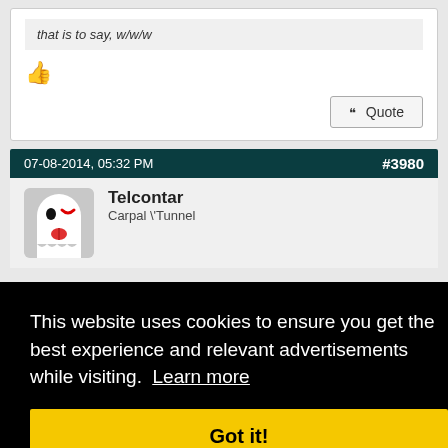that is to say, w/w/w
[Figure (illustration): Thumbs up emoji]
Quote button
07-08-2014, 05:32 PM
#3980
[Figure (illustration): Telcontar avatar - cartoon ghost with tongue out]
Telcontar
Carpal \'Tunnel
This website uses cookies to ensure you get the best experience and relevant advertisements while visiting. Learn more
Got it!
#3981
monstrman